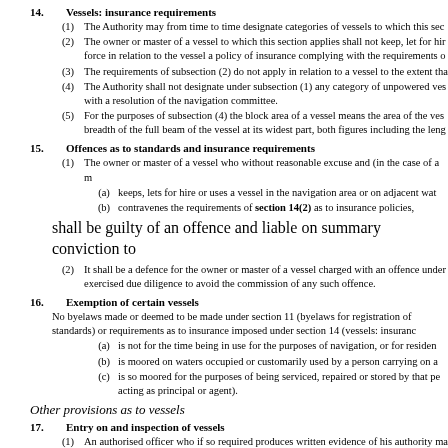14. Vessels: insurance requirements
(1) The Authority may from time to time designate categories of vessels to which this sec
(2) The owner or master of a vessel to which this section applies shall not keep, let for hir force in relation to the vessel a policy of insurance complying with the requirements o
(3) The requirements of subsection (2) do not apply in relation to a vessel to the extent tha
(4) The Authority shall not designate under subsection (1) any category of unpowered ves with a resolution of the navigation committee.
(5) For the purposes of subsection (4) the block area of a vessel means the area of the ves breadth of the full beam of the vessel at its widest part, both figures including the leng
15. Offences as to standards and insurance requirements
(1) The owner or master of a vessel who without reasonable excuse and (in the case of a m
(a) keeps, lets for hire or uses a vessel in the navigation area or on adjacent wat
(b) contravenes the requirements of section 14(2) as to insurance policies,
shall be guilty of an offence and liable on summary conviction to
(2) It shall be a defence for the owner or master of a vessel charged with an offence under exercised due diligence to avoid the commission of any such offence.
16. Exemption of certain vessels
No byelaws made or deemed to be made under section 11 (byelaws for registration of standards) or requirements as to insurance imposed under section 14 (vessels: insuranc
(a) is not for the time being in use for the purposes of navigation, or for residen
(b) is moored on waters occupied or customarily used by a person carrying on a
(c) is so moored for the purposes of being serviced, repaired or stored by that pe acting as principal or agent).
Other provisions as to vessels
17. Entry on and inspection of vessels
(1) An authorised officer who if so required produces written evidence of his authority ma of—